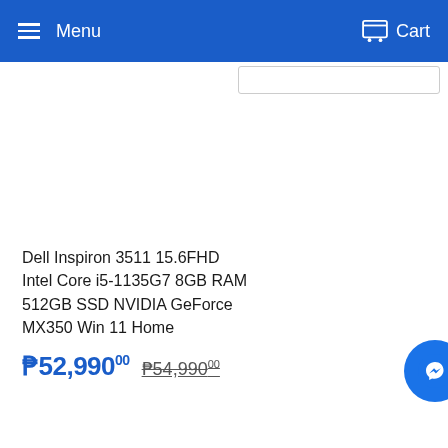Menu  Cart
Dell Inspiron 3511 15.6FHD Intel Core i5-1135G7 8GB RAM 512GB SSD NVIDIA GeForce MX350 Win 11 Home
P52,990.00  P54,990.00